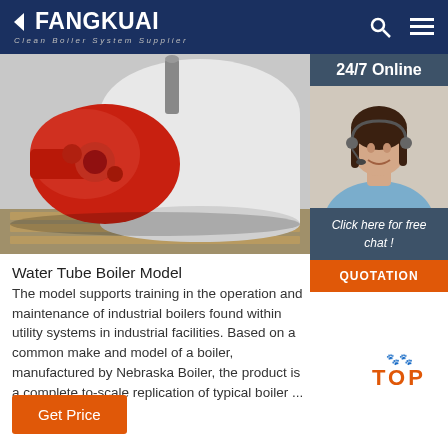FANGKUAI - Clean Boiler System Supplier
[Figure (photo): Industrial water tube boiler with red burner unit mounted on pallet, large white cylindrical vessel in background]
[Figure (photo): 24/7 Online support representative - woman with headset smiling, sidebar widget with 'Click here for free chat!' and QUOTATION button]
Water Tube Boiler Model
The model supports training in the operation and maintenance of industrial boilers found within utility systems in industrial facilities. Based on a common make and model of a boiler manufactured by Nebraska Boiler, the product is a complete to-scale replication of typical boiler ...
[Figure (other): TOP scroll-to-top button with orange paw prints decoration]
Get Price